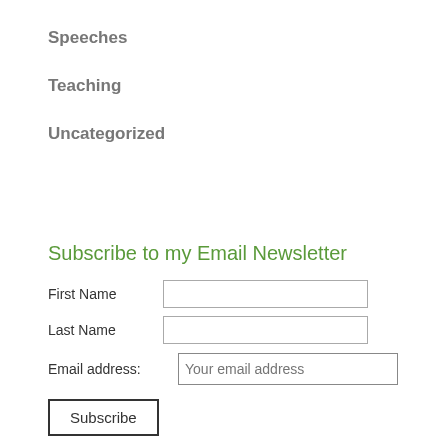Speeches
Teaching
Uncategorized
Subscribe to my Email Newsletter
First Name [input field]
Last Name [input field]
Email address: Your email address
Subscribe [button]